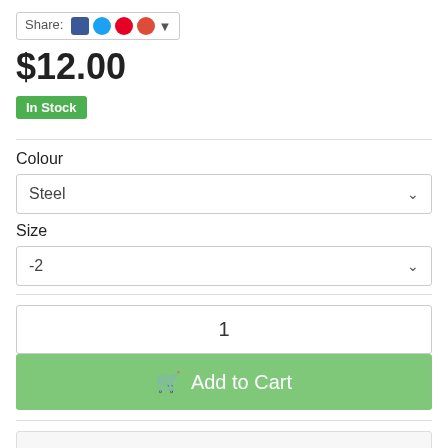Share: [social icons]
$12.00
In Stock
Colour
Steel
Size
-2
1
Add to Cart
Calculate Shipping